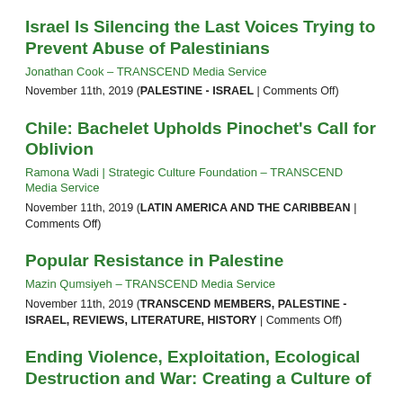Israel Is Silencing the Last Voices Trying to Prevent Abuse of Palestinians
Jonathan Cook – TRANSCEND Media Service
November 11th, 2019 (PALESTINE - ISRAEL | Comments Off)
Chile: Bachelet Upholds Pinochet's Call for Oblivion
Ramona Wadi | Strategic Culture Foundation – TRANSCEND Media Service
November 11th, 2019 (LATIN AMERICA AND THE CARIBBEAN | Comments Off)
Popular Resistance in Palestine
Mazin Qumsiyeh – TRANSCEND Media Service
November 11th, 2019 (TRANSCEND MEMBERS, PALESTINE - ISRAEL, REVIEWS, LITERATURE, HISTORY | Comments Off)
Ending Violence, Exploitation, Ecological Destruction and War: Creating a Culture of